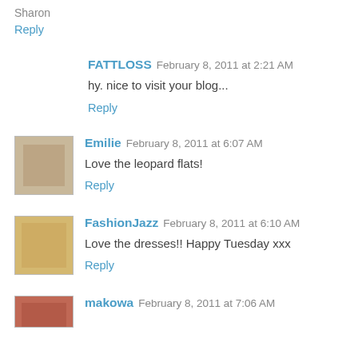Sharon
Reply
FATTLOSS February 8, 2011 at 2:21 AM
hy. nice to visit your blog...
Reply
Emilie February 8, 2011 at 6:07 AM
Love the leopard flats!
Reply
FashionJazz February 8, 2011 at 6:10 AM
Love the dresses!! Happy Tuesday xxx
Reply
makowa February 8, 2011 at 7:06 AM